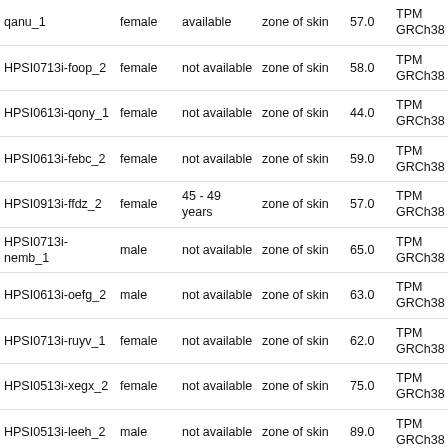| Sample | Sex | Age | Tissue | Age (yr) | Unit Genome | ID |
| --- | --- | --- | --- | --- | --- | --- |
| qanu_1 | female | available | zone of skin | 57.0 | TPM GRCh38 | 1818 |
| HPSI0713i-foop_2 | female | not available | zone of skin | 58.0 | TPM GRCh38 | 1818 |
| HPSI0613i-qony_1 | female | not available | zone of skin | 44.0 | TPM GRCh38 | 1818 |
| HPSI0613i-febc_2 | female | not available | zone of skin | 59.0 | TPM GRCh38 | 1818 |
| HPSI0913i-ffdz_2 | female | 45 - 49 years | zone of skin | 57.0 | TPM GRCh38 | 1818 |
| HPSI0713i-nemb_1 | male | not available | zone of skin | 65.0 | TPM GRCh38 | 1818 |
| HPSI0613i-oefg_2 | male | not available | zone of skin | 63.0 | TPM GRCh38 | 1818 |
| HPSI0713i-ruyv_1 | female | not available | zone of skin | 62.0 | TPM GRCh38 | 1818 |
| HPSI0513i-xegx_2 | female | not available | zone of skin | 75.0 | TPM GRCh38 | 1818 |
| HPSI0513i-leeh_2 | male | not available | zone of skin | 89.0 | TPM GRCh38 | 1818 |
| HPSI0513i-huls_1 | female | not available | zone of skin | 54.0 | TPM GRCh38 | 1818 |
| HPSI1113i-eofe_1 | female | 45 - 49 years | zone of skin |  | TPM GRCh38 | 1818 |
| HPSI1113i-qorq_2 | male | 50 - 54 years | zone of skin | 61.0 | TPM GRCh38 | 1818 |
| HPSI0214i-wibj_2 | female | 55 - 59 years | zone of skin | 69.0 | TPM GRCh38 | 1818 |
| HPSI0314i- | female | 45 - 49 | zone of skin | 50.0 | TPM GRCh38 | 1818 |